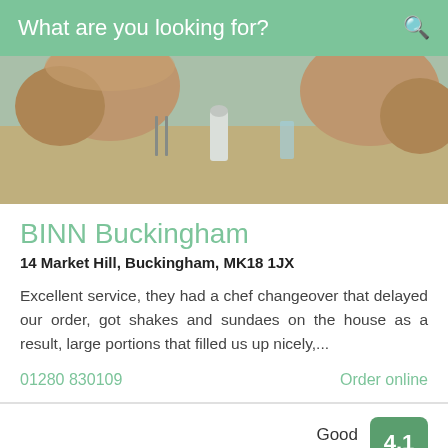What are you looking for?
[Figure (photo): Photo of people dining at a restaurant table with food and drinks visible]
BINN Buckingham
14 Market Hill, Buckingham, MK18 1JX
Excellent service, they had a chef changeover that delayed our order, got shakes and sundaes on the house as a result, large portions that filled us up nicely,...
01280 830109
Order online
Good 50 Reviews 4.1
INDIAN